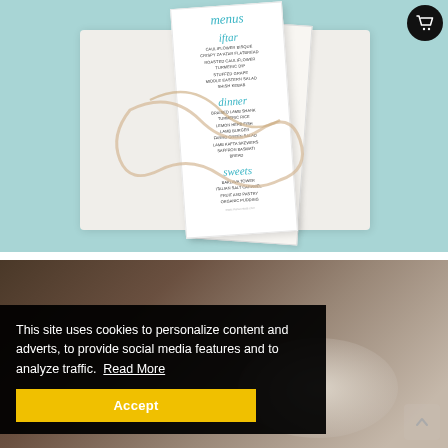[Figure (photo): Top photo: Flat-lay of a decorative Iftar/dinner menu card tied with a champagne satin ribbon, placed on a white tray against a mint/teal background. The menu card shows script headings for iftar, dinner, and sweets sections in teal calligraphy.]
[Figure (photo): Bottom photo: Blurred background image, partially obscured by cookie consent banner. Appears to show a table setting or food item.]
This site uses cookies to personalize content and adverts, to provide social media features and to analyze traffic.  Read More
Accept